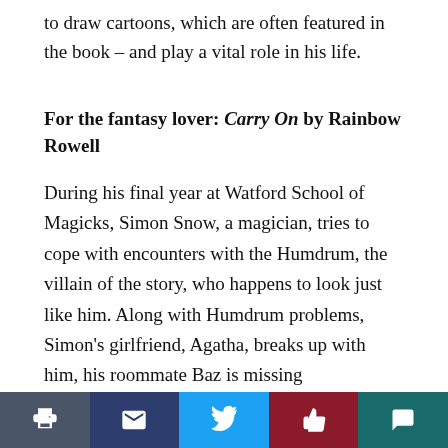to draw cartoons, which are often featured in the book – and play a vital role in his life.
For the fantasy lover: Carry On by Rainbow Rowell
During his final year at Watford School of Magicks, Simon Snow, a magician, tries to cope with encounters with the Humdrum, the villain of the story, who happens to look just like him. Along with Humdrum problems, Simon's girlfriend, Agatha, breaks up with him, his roommate Baz is missing